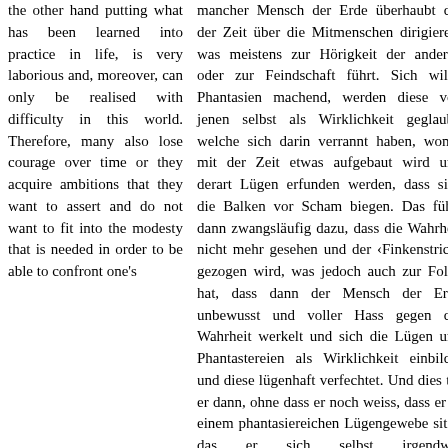the other hand putting what has been learned into practice in life, is very laborious and, moreover, can only be realised with difficulty in this world. Therefore, many also lose courage over time or they acquire ambitions that they want to assert and do not want to fit into the modesty that is needed in order to be able to confront one's
mancher Mensch der Erde überhaupt die der Zeit über die Mitmenschen dirigieren, was meistens zur Hörigkeit der anderen oder zur Feindschaft führt. Sich wilde Phantasien machend, werden diese von jenen selbst als Wirklichkeit geglaubt, welche sich darin verrannt haben, womit mit der Zeit etwas aufgebaut wird und derart Lügen erfunden werden, dass sich die Balken vor Scham biegen. Das führt dann zwangsläufig dazu, dass die Wahrheit nicht mehr gesehen und der ‹Finkenstrich› gezogen wird, was jedoch auch zur Folge hat, dass dann der Mensch der Erde unbewusst und voller Hass gegen die Wahrheit werkelt und sich die Lügen und Phantastereien als Wirklichkeit einbildet und diese lügenhaft verfechtet. Und dies tut er dann, ohne dass er noch weiss, dass er in einem phantasiereichen Lügengewebe sitzt, das er sich selbst irgendwie zurechtgebastelt hat, wofür die persönlichen Phant